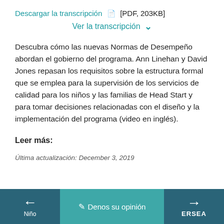Descargar la transcripción [PDF, 203KB]
Ver la transcripción ▾
Descubra cómo las nuevas Normas de Desempeño abordan el gobierno del programa. Ann Linehan y David Jones repasan los requisitos sobre la estructura formal que se emplea para la supervisión de los servicios de calidad para los niños y las familias de Head Start y para tomar decisiones relacionadas con el diseño y la implementación del programa (video en inglés).
Leer más:
Última actualización: December 3, 2019
← Niño | Denos su opinión | ERSEA →